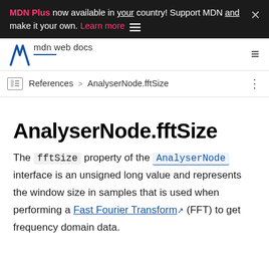MDN Plus now available in your country! Support MDN and make it your own. Learn more
[Figure (logo): MDN Web Docs logo with M slash icon and text 'mdn web docs']
References > AnalyserNode.fftSize
AnalyserNode.fftSize
The fftSize property of the AnalyserNode interface is an unsigned long value and represents the window size in samples that is used when performing a Fast Fourier Transform (FFT) to get frequency domain data.